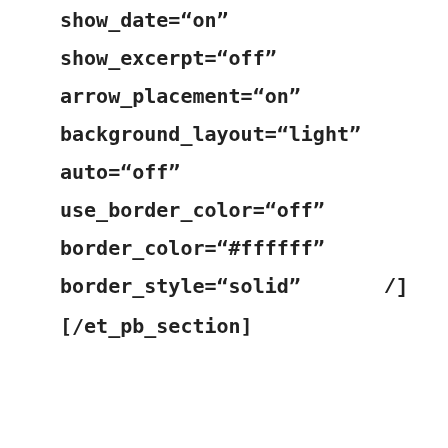show_date="on"
show_excerpt="off"
arrow_placement="on"
background_layout="light"
auto="off"
use_border_color="off"
border_color="#ffffff"
border_style="solid"                    /]
[/et_pb_section]